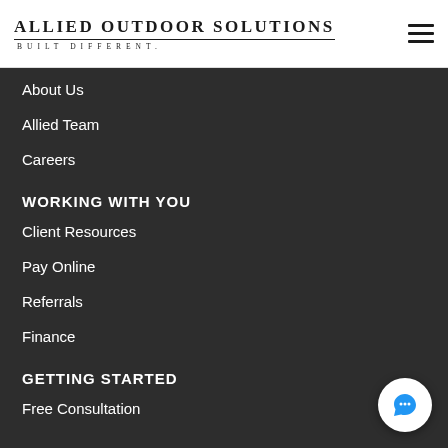[Figure (logo): Allied Outdoor Solutions logo with 'BUILT DIFFERENT.' tagline]
About Us
Allied Team
Careers
WORKING WITH YOU
Client Resources
Pay Online
Referrals
Finance
GETTING STARTED
Free Consultation